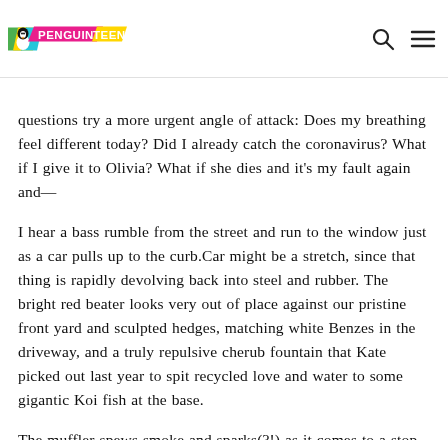PENGUIN TEEN
questions try a more urgent angle of attack: Does my breathing feel different today? Did I already catch the coronavirus? What if I give it to Olivia? What if she dies and it's my fault again and—
I hear a bass rumble from the street and run to the window just as a car pulls up to the curb.Car might be a stretch, since that thing is rapidly devolving back into steel and rubber. The bright red beater looks very out of place against our pristine front yard and sculpted hedges, matching white Benzes in the driveway, and a truly repulsive cherub fountain that Kate picked out last year to spit recycled love and water to some gigantic Koi fish at the base.
The muffler spews smoke and sparks(?!) as it comes to a stop. Is that legal?